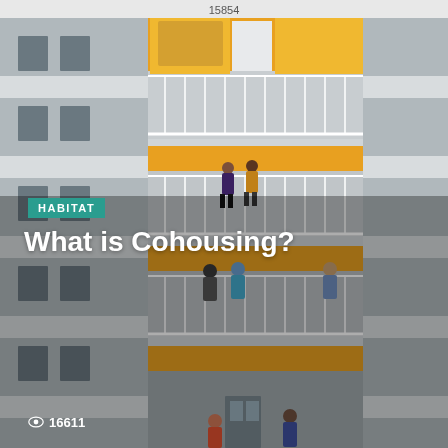15854
[Figure (photo): Exterior photo of a modern multi-story apartment building with yellow accent panels and white horizontal stripe cladding. Multiple balconies with white railings are visible, with residents standing and socializing on them. Blue sky visible in background.]
HABITAT
What is Cohousing?
16611